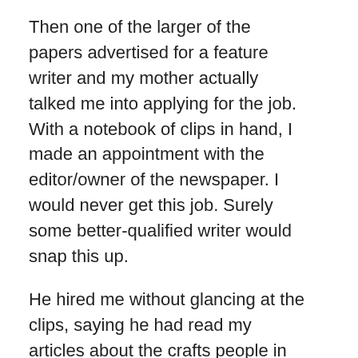Then one of the larger of the papers advertised for a feature writer and my mother actually talked me into applying for the job. With a notebook of clips in hand, I made an appointment with the editor/owner of the newspaper. I would never get this job. Surely some better-qualified writer would snap this up.
He hired me without glancing at the clips, saying he had read my articles about the crafts people in the area. I cheerfully turned over my prior writing job to my mother, who was eager to take it. (Think she had some ulterior motives earlier?) No matter. At the age of fifty, I began a fantastic job that would last 20 years.
Later, interviews took me up in airplanes of many varieties when they came to Drake Field for air shows. There was Fifi, the only B29 bomber still airborne. It could be I sat in